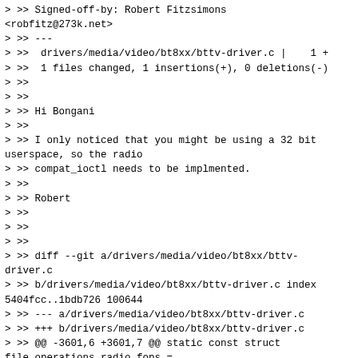> >> Signed-off-by: Robert Fitzsimons <robfitz@273k.net>
> >> ---
> >>  drivers/media/video/bt8xx/bttv-driver.c |    1 +
> >>  1 files changed, 1 insertions(+), 0 deletions(-)
> >>
> >>
> >> Hi Bongani
> >>
> >> I only noticed that you might be using a 32 bit userspace, so the radio
> >> compat_ioctl needs to be implmented.
> >>
> >> Robert
> >>
> >>
> >>
> >> diff --git a/drivers/media/video/bt8xx/bttv-driver.c
> >> b/drivers/media/video/bt8xx/bttv-driver.c index 5404fcc..1bdb726 100644
> >> --- a/drivers/media/video/bt8xx/bttv-driver.c
> >> +++ b/drivers/media/video/bt8xx/bttv-driver.c
> >> @@ -3601,6 +3601,7 @@ static const struct file_operations radio_fops =
> >>      .read      = radio_read,
> >>      .release = radio_release,
> >>      .ioctl    = video_ioctl2,
> >> +    .compat_ioctl  = v4l_compat_ioctl32,
> >>      .llseek   = no_llseek,